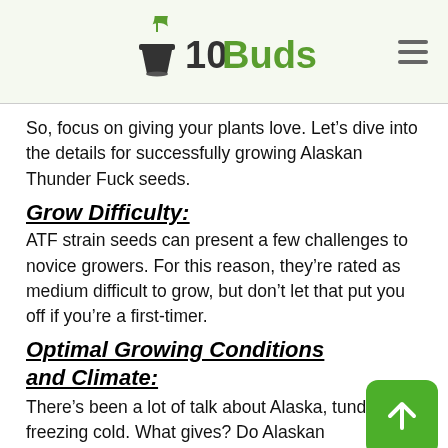10Buds
So, focus on giving your plants love. Let’s dive into the details for successfully growing Alaskan Thunder Fuck seeds.
Grow Difficulty:
ATF strain seeds can present a few challenges to novice growers. For this reason, they’re rated as medium difficult to grow, but don’t let that put you off if you’re a first-timer.
Optimal Growing Conditions and Climate:
There’s been a lot of talk about Alaska, tundra and freezing cold. What gives? Do Alaskan